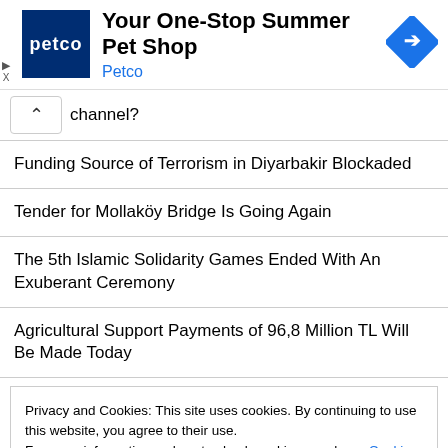[Figure (screenshot): Petco advertisement banner with blue logo showing 'petco', headline 'Your One-Stop Summer Pet Shop', brand name 'Petco' in blue, and a blue diamond-shaped navigation arrow icon on the right.]
channel?
Funding Source of Terrorism in Diyarbakir Blockaded
Tender for Mollaköy Bridge Is Going Again
The 5th Islamic Solidarity Games Ended With An Exuberant Ceremony
Agricultural Support Payments of 96,8 Million TL Will Be Made Today
Privacy and Cookies: This site uses cookies. By continuing to use this website, you agree to their use.
For more information on how to check cookies, see here: Cookie Policy